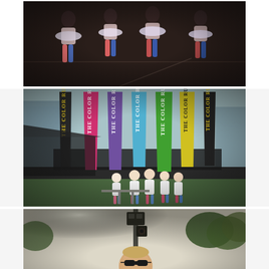[Figure (photo): People in tutus and colorful socks jumping in the air, viewed from below, dark moody background]
[Figure (photo): Group of women in white outfits with colorful socks posing in front of multiple 'The Color Run' branded feather banners in pink, purple, blue, green, and yellow/black]
[Figure (photo): Man wearing sunglasses taking a selfie outdoors near trees and a pole with equipment, bright sky in background]